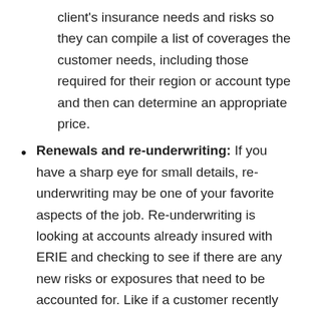client's insurance needs and risks so they can compile a list of coverages the customer needs, including those required for their region or account type and then can determine an appropriate price.
Renewals and re-underwriting: If you have a sharp eye for small details, re-underwriting may be one of your favorite aspects of the job. Re-underwriting is looking at accounts already insured with ERIE and checking to see if there are any new risks or exposures that need to be accounted for. Like if a customer recently got a swimming pool installed, they might need some extra coverage.
Hear from Erin, an ERIE underwriter, on how her